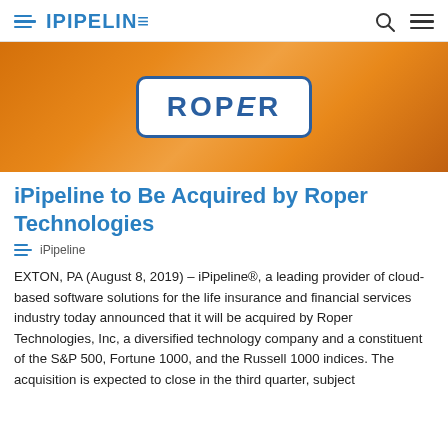iPipeline
[Figure (logo): Roper Technologies logo: white box with blue rounded border containing the word ROPER in bold blue uppercase letters, set against an orange gradient background banner]
iPipeline to Be Acquired by Roper Technologies
iPipeline
EXTON, PA (August 8, 2019) – iPipeline®, a leading provider of cloud-based software solutions for the life insurance and financial services industry today announced that it will be acquired by Roper Technologies, Inc, a diversified technology company and a constituent of the S&P 500, Fortune 1000, and the Russell 1000 indices. The acquisition is expected to close in the third quarter, subject to regulatory approval and other customary conditions.